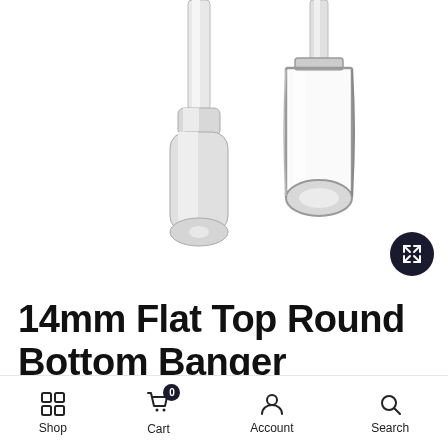[Figure (photo): Two clear glass quartz banger pieces — one cylindrical flat-top joint piece on the left and one round bottom bucket piece on the right — displayed on a white background]
14mm Flat Top Round Bottom Banger
Shop    Cart    Account    Search